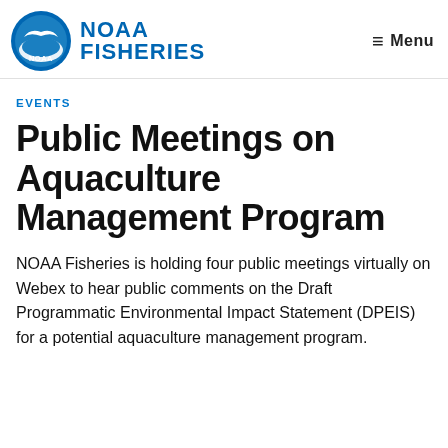[Figure (logo): NOAA Fisheries logo: circular NOAA emblem in blue with white bird/wave, next to bold blue text NOAA FISHERIES]
≡ Menu
EVENTS
Public Meetings on Aquaculture Management Program
NOAA Fisheries is holding four public meetings virtually on Webex to hear public comments on the Draft Programmatic Environmental Impact Statement (DPEIS) for a potential aquaculture management program.